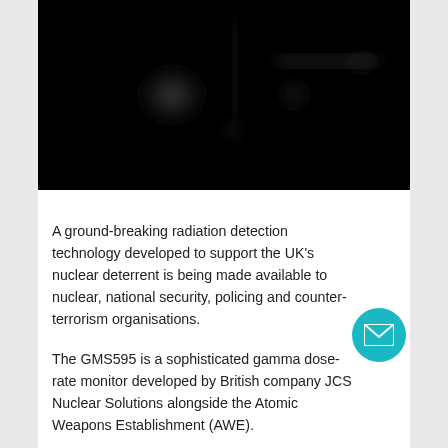[Figure (photo): Dark, low-light photograph showing faint blurry shapes and a bright spot in the center, likely thermal or radiation imaging equipment in a dark environment.]
A ground-breaking radiation detection technology developed to support the UK's nuclear deterrent is being made available to nuclear, national security, policing and counter-terrorism organisations.
The GMS595 is a sophisticated gamma dose-rate monitor developed by British company JCS Nuclear Solutions alongside the Atomic Weapons Establishment (AWE).